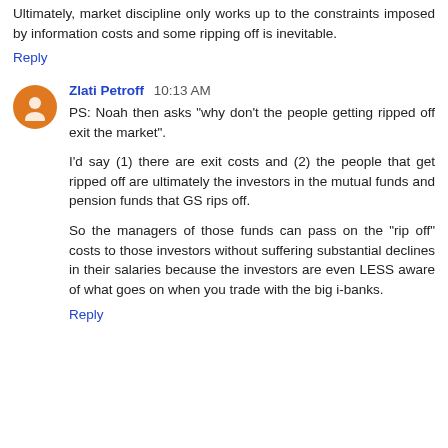Ultimately, market discipline only works up to the constraints imposed by information costs and some ripping off is inevitable.
Reply
Zlati Petroff  10:13 AM
PS: Noah then asks "why don't the people getting ripped off exit the market".
I'd say (1) there are exit costs and (2) the people that get ripped off are ultimately the investors in the mutual funds and pension funds that GS rips off.
So the managers of those funds can pass on the "rip off" costs to those investors without suffering substantial declines in their salaries because the investors are even LESS aware of what goes on when you trade with the big i-banks.
Reply